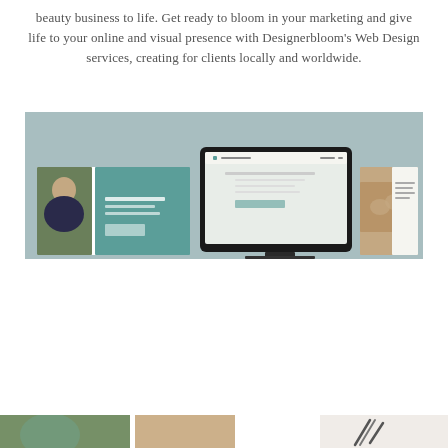beauty business to life. Get ready to bloom in your marketing and give life to your online and visual presence with Designerbloom's Web Design services, creating for clients locally and worldwide.
[Figure (screenshot): A wide promotional image showing web design mockups on screen and printed materials, including a laptop/tablet displaying a website, a woman's headshot card, teal branded cards, and a photo of hands, all against a muted sage-green background.]
[Figure (photo): Bottom edge of the page showing partial images — appears to be additional web design portfolio samples or lifestyle photos, partially cut off.]